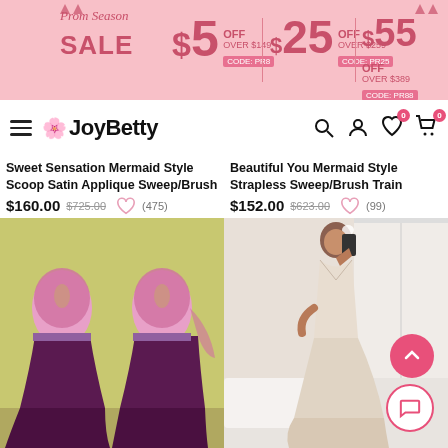[Figure (screenshot): JoyBetty e-commerce website screenshot showing a prom season sale banner, navigation bar, two product listings with images of mermaid style dresses]
Prom Season SALE
$5 OFF OVER $149 CODE: PR8 | $25 OFF OVER $259 CODE: PR28 | $55 OFF OVER $389 CODE: PR88
JoyBetty
Sweet Sensation Mermaid Style Scoop Satin Applique Sweep/Brush
$160.00  $725.00  (475)
Beautiful You Mermaid Style Strapless Sweep/Brush Train
$152.00  $623.00  (99)